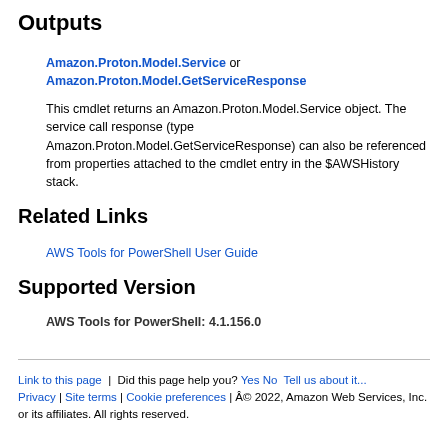Outputs
Amazon.Proton.Model.Service or Amazon.Proton.Model.GetServiceResponse
This cmdlet returns an Amazon.Proton.Model.Service object. The service call response (type Amazon.Proton.Model.GetServiceResponse) can also be referenced from properties attached to the cmdlet entry in the $AWSHistory stack.
Related Links
AWS Tools for PowerShell User Guide
Supported Version
AWS Tools for PowerShell: 4.1.156.0
Link to this page | Did this page help you? Yes No Tell us about it... Privacy | Site terms | Cookie preferences | © 2022, Amazon Web Services, Inc. or its affiliates. All rights reserved.